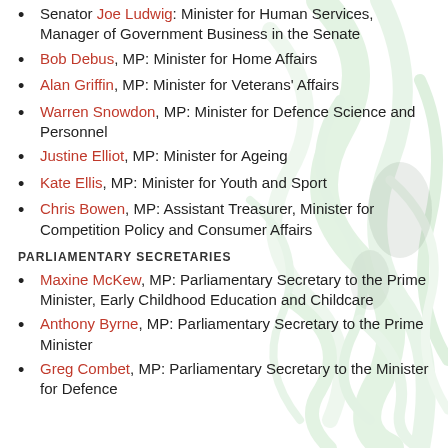Senator Joe Ludwig: Minister for Human Services, Manager of Government Business in the Senate
Bob Debus, MP: Minister for Home Affairs
Alan Griffin, MP: Minister for Veterans' Affairs
Warren Snowdon, MP: Minister for Defence Science and Personnel
Justine Elliot, MP: Minister for Ageing
Kate Ellis, MP: Minister for Youth and Sport
Chris Bowen, MP: Assistant Treasurer, Minister for Competition Policy and Consumer Affairs
PARLIAMENTARY SECRETARIES
Maxine McKew, MP: Parliamentary Secretary to the Prime Minister, Early Childhood Education and Childcare
Anthony Byrne, MP: Parliamentary Secretary to the Prime Minister
Greg Combet, MP: Parliamentary Secretary to the Minister for Defence